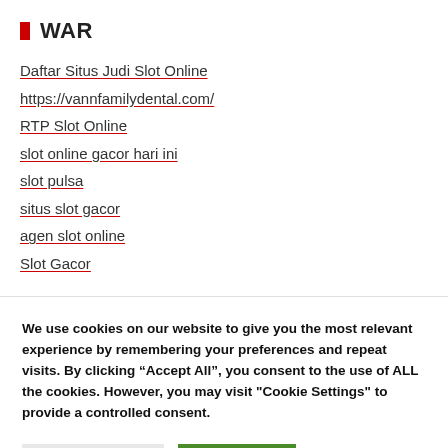WAR
Daftar Situs Judi Slot Online
https://vannfamilydental.com/
RTP Slot Online
slot online gacor hari ini
slot pulsa
situs slot gacor
agen slot online
Slot Gacor
We use cookies on our website to give you the most relevant experience by remembering your preferences and repeat visits. By clicking “Accept All”, you consent to the use of ALL the cookies. However, you may visit "Cookie Settings" to provide a controlled consent.